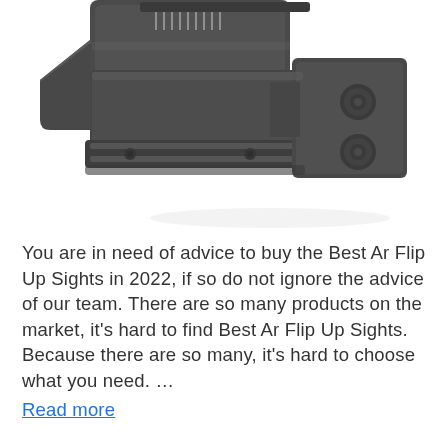[Figure (photo): Close-up photograph of a black metal AR flip-up rear sight, showing adjustment dials and mounting hardware on a white background.]
You are in need of advice to buy the Best Ar Flip Up Sights in 2022, if so do not ignore the advice of our team. There are so many products on the market, it's hard to find Best Ar Flip Up Sights. Because there are so many, it's hard to choose what you need. ...
Read more